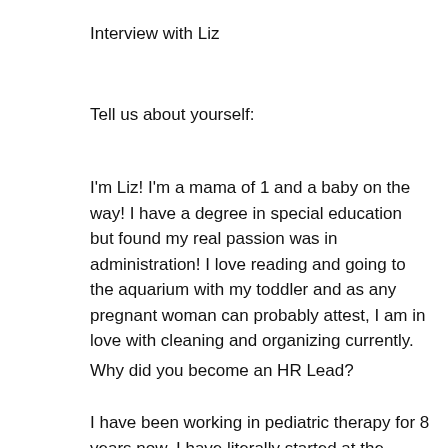Interview with Liz
Tell us about yourself:
I'm Liz! I'm a mama of 1 and a baby on the way! I have a degree in special education but found my real passion was in administration! I love reading and going to the aquarium with my toddler and as any pregnant woman can probably attest, I am in love with cleaning and organizing currently.
Why did you become an HR Lead?
I have been working in pediatric therapy for 8 years now. I have literally started at the bottom